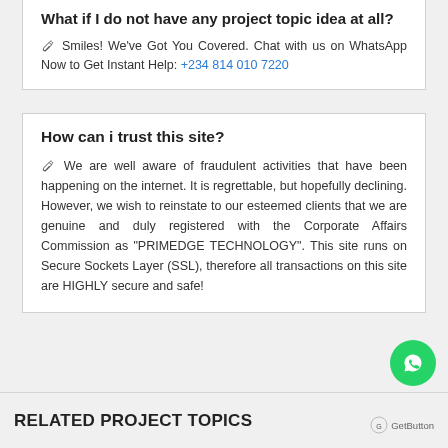What if I do not have any project topic idea at all?
✎ Smiles! We've Got You Covered. Chat with us on WhatsApp Now to Get Instant Help: +234 814 010 7220
How can i trust this site?
✎ We are well aware of fraudulent activities that have been happening on the internet. It is regrettable, but hopefully declining. However, we wish to reinstate to our esteemed clients that we are genuine and duly registered with the Corporate Affairs Commission as "PRIMEDGE TECHNOLOGY". This site runs on Secure Sockets Layer (SSL), therefore all transactions on this site are HIGHLY secure and safe!
RELATED PROJECT TOPICS